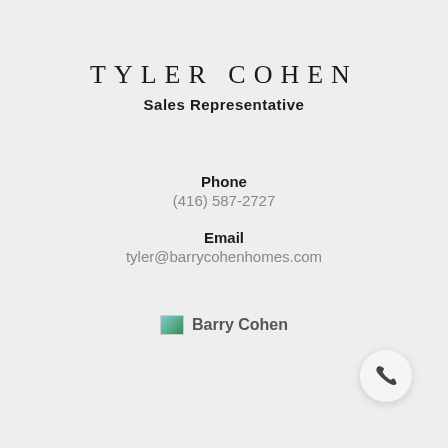TYLER COHEN
Sales Representative
Phone
(416) 587-2727
Email
tyler@barrycohenhomes.com
[Figure (logo): Barry Cohen Homes logo with small landscape image and text 'Barry Cohen']
[Figure (other): Phone call button icon — circular white button with dark phone handset icon]